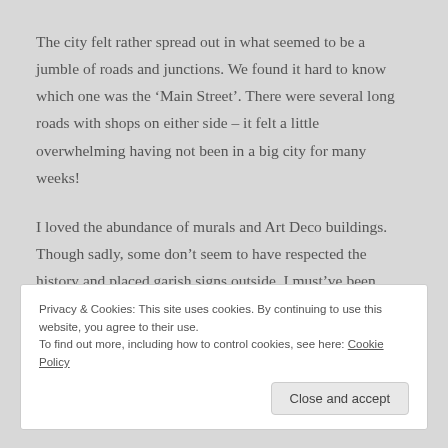The city felt rather spread out in what seemed to be a jumble of roads and junctions. We found it hard to know which one was the 'Main Street'. There were several long roads with shops on either side – it felt a little overwhelming having not been in a big city for many weeks!
I loved the abundance of murals and Art Deco buildings. Though sadly, some don't seem to have respected the history and placed garish signs outside. I must've been wearing an invisible badge saying, "attack me verbally today", as walking past the museum, another aggressive woman shouted out
Privacy & Cookies: This site uses cookies. By continuing to use this website, you agree to their use.
To find out more, including how to control cookies, see here: Cookie Policy